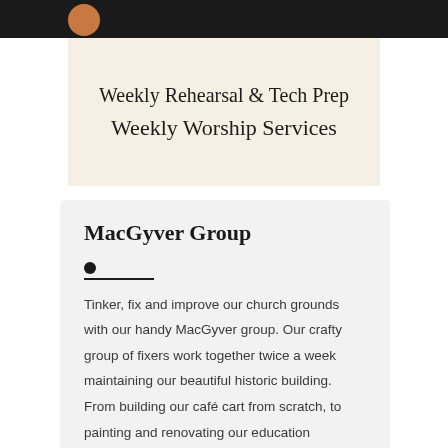[Figure (photo): Dark background image bar at top with an orange/brown circle visible on the left side]
Weekly Rehearsal & Tech Prep
Weekly Worship Services
MacGyver Group
Tinker, fix and improve our church grounds with our handy MacGyver group. Our crafty group of fixers work together twice a week maintaining our beautiful historic building. From building our café cart from scratch, to painting and renovating our education